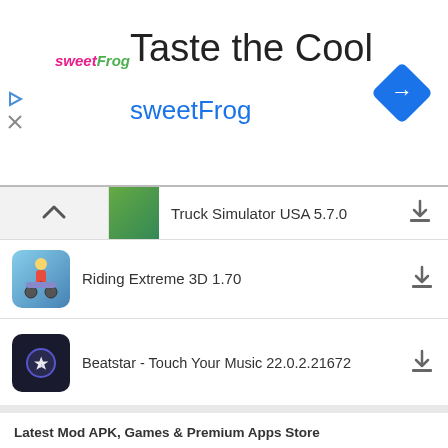[Figure (screenshot): SweetFrog advertisement banner with logo, 'Taste the Cool' title, 'sweetFrog' subtitle, and navigation arrow icon]
Truck Simulator USA 5.7.0
Riding Extreme 3D 1.70
Beatstar - Touch Your Music 22.0.2.21672
Latest Mod APK, Games & Premium Apps Store
ApkModsApp is a one-stop destination to download The latest updated MOD APK paid & modded Applications and games for free. We focus on quality and user satisfaction, and our well-experienced Developers continuously work to meet our website users' requirements.